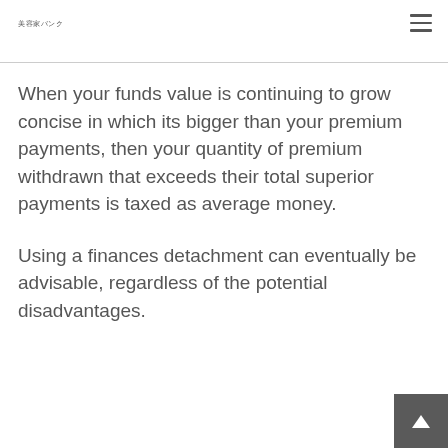美容家バンク
When your funds value is continuing to grow concise in which its bigger than your premium payments, then your quantity of premium withdrawn that exceeds their total superior payments is taxed as average money.
Using a finances detachment can eventually be advisable, regardless of the potential disadvantages.